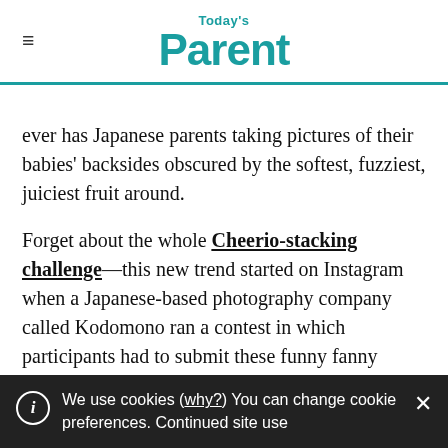Today's Parent
ever has Japanese parents taking pictures of their babies' backsides obscured by the softest, fuzziest, juiciest fruit around.
Forget about the whole Cheerio-stacking challenge—this new trend started on Instagram when a Japanese-based photography company called Kodomono ran a contest in which participants had to submit these funny fanny photos. The
We use cookies (why?) You can change cookie preferences. Continued site use